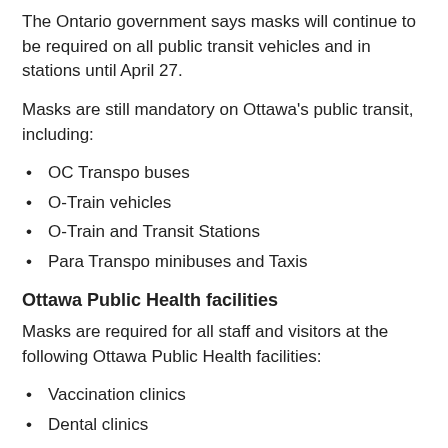The Ontario government says masks will continue to be required on all public transit vehicles and in stations until April 27.
Masks are still mandatory on Ottawa's public transit, including:
OC Transpo buses
O-Train vehicles
O-Train and Transit Stations
Para Transpo minibuses and Taxis
Ottawa Public Health facilities
Masks are required for all staff and visitors at the following Ottawa Public Health facilities:
Vaccination clinics
Dental clinics
Sexual health clinics
Supervised consumption services